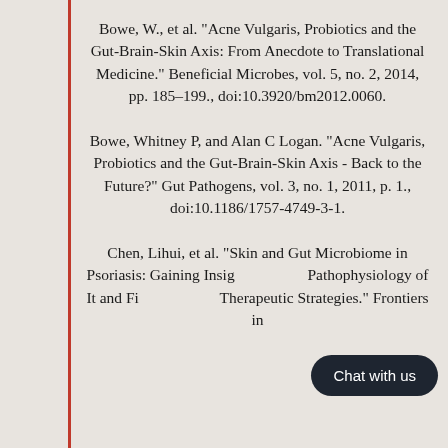Bowe, W., et al. "Acne Vulgaris, Probiotics and the Gut-Brain-Skin Axis: From Anecdote to Translational Medicine." Beneficial Microbes, vol. 5, no. 2, 2014, pp. 185-199., doi:10.3920/bm2012.0060.
Bowe, Whitney P, and Alan C Logan. "Acne Vulgaris, Probiotics and the Gut-Brain-Skin Axis - Back to the Future?" Gut Pathogens, vol. 3, no. 1, 2011, p. 1., doi:10.1186/1757-4749-3-1.
Chen, Lihui, et al. "Skin and Gut Microbiome in Psoriasis: Gaining Insight into the Pathophysiology of It and Finding Novel Therapeutic Strategies." Frontiers in